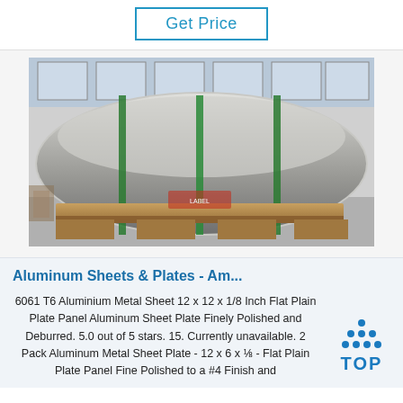Get Price
[Figure (photo): Large aluminum rolls/coils strapped with green bands, resting on a wooden pallet inside an industrial warehouse.]
Aluminum Sheets & Plates - Am...
6061 T6 Aluminium Metal Sheet 12 x 12 x 1/8 Inch Flat Plain Plate Panel Aluminum Sheet Plate Finely Polished and Deburred. 5.0 out of 5 stars. 15. Currently unavailable. 2 Pack Aluminum Metal Sheet Plate - 12 x 6 x ⅛ - Flat Plain Plate Panel Fine Polished to a #4 Finish and
[Figure (logo): TOP logo with blue dots arranged in a triangle above the word TOP in blue text]